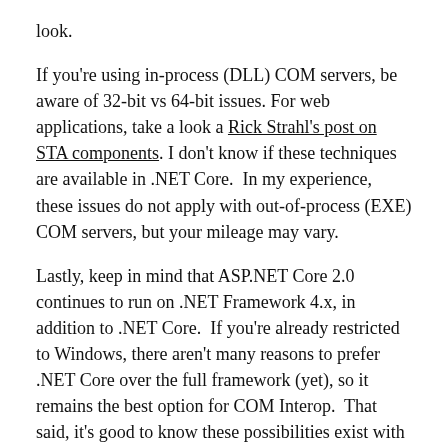look.
If you're using in-process (DLL) COM servers, be aware of 32-bit vs 64-bit issues. For web applications, take a look a Rick Strahl's post on STA components. I don't know if these techniques are available in .NET Core. In my experience, these issues do not apply with out-of-process (EXE) COM servers, but your mileage may vary.
Lastly, keep in mind that ASP.NET Core 2.0 continues to run on .NET Framework 4.x, in addition to .NET Core. If you're already restricted to Windows, there aren't many reasons to prefer .NET Core over the full framework (yet), so it remains the best option for COM Interop. That said, it's good to know these possibilities exist with .NET Core.
Microsoft has been choosy about what they bring over